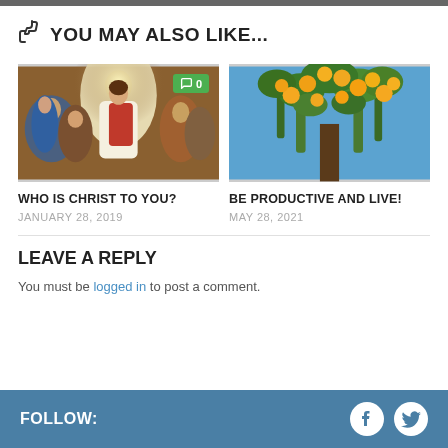👍 YOU MAY ALSO LIKE...
[Figure (photo): Religious painting showing Jesus Christ surrounded by people, with a comment badge showing '0']
[Figure (photo): Photo of orange/lemon fruit tree with ripe yellow fruits against a blue sky]
WHO IS CHRIST TO YOU?
BE PRODUCTIVE AND LIVE!
JANUARY 28, 2019
MAY 28, 2021
LEAVE A REPLY
You must be logged in to post a comment.
FOLLOW: